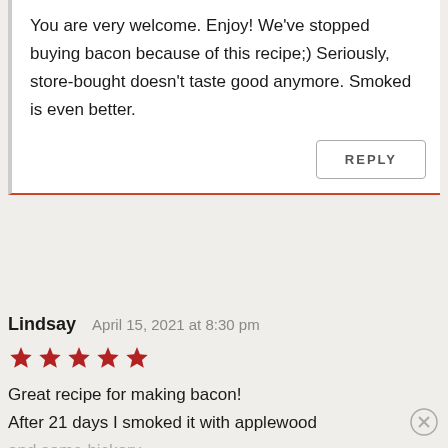You are very welcome. Enjoy! We've stopped buying bacon because of this recipe;) Seriously, store-bought doesn't taste good anymore. Smoked is even better.
REPLY
Lindsay   April 15, 2021 at 8:30 pm
[Figure (other): Five filled red/dark-red stars rating]
Great recipe for making bacon!
After 21 days I smoked it with applewood and some hickory.
Made a great carbonara with this bacon.